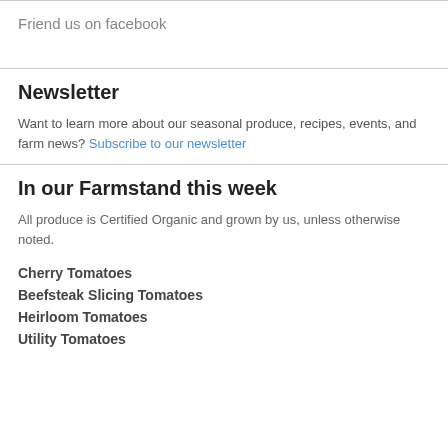Friend us on facebook
Newsletter
Want to learn more about our seasonal produce, recipes, events, and farm news? Subscribe to our newsletter
In our Farmstand this week
All produce is Certified Organic and grown by us, unless otherwise noted.
Cherry Tomatoes
Beefsteak Slicing Tomatoes
Heirloom Tomatoes
Utility Tomatoes